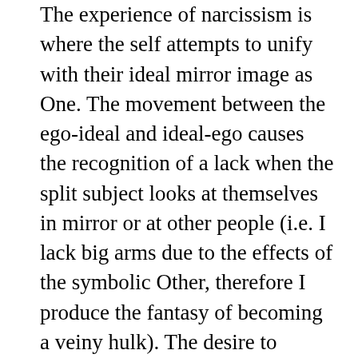The experience of narcissism is where the self attempts to unify with their ideal mirror image as One. The movement between the ego-ideal and ideal-ego causes the recognition of a lack when the split subject looks at themselves in mirror or at other people (i.e. I lack big arms due to the effects of the symbolic Other, therefore I produce the fantasy of becoming a veiny hulk). The desire to converge the ego-ideal and ideal-ego together is often referred as “the One”. Such term is also used in the same sense on how couples sometimes refer to their significant other as the One—an illusionary One that is produced